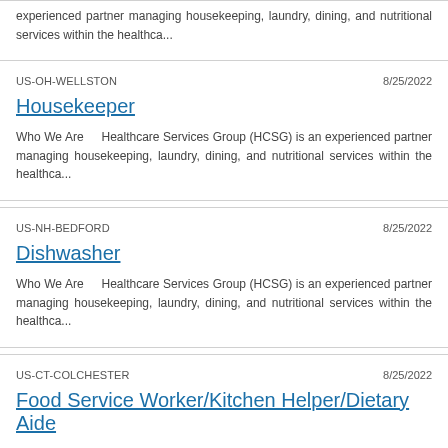experienced partner managing housekeeping, laundry, dining, and nutritional services within the healthca...
US-OH-WELLSTON	8/25/2022
Housekeeper
Who We Are    Healthcare Services Group (HCSG) is an experienced partner managing housekeeping, laundry, dining, and nutritional services within the healthca...
US-NH-BEDFORD	8/25/2022
Dishwasher
Who We Are    Healthcare Services Group (HCSG) is an experienced partner managing housekeeping, laundry, dining, and nutritional services within the healthca...
US-CT-COLCHESTER	8/25/2022
Food Service Worker/Kitchen Helper/Dietary Aide